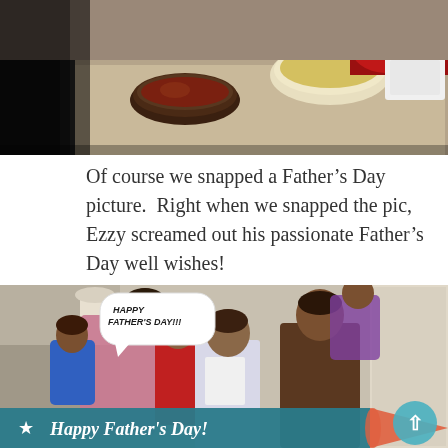[Figure (photo): Top portion of a photo showing a spread of food dishes on a granite countertop, with a person partially visible on the left side.]
Of course we snapped a Father’s Day picture.  Right when we snapped the pic, Ezzy screamed out his passionate Father’s Day well wishes!
[Figure (photo): Group photo of a family celebrating Father's Day. Several adults and children are posing together indoors. A speech bubble overlay reads 'HAPPY FATHER'S DAY!!!' and a banner at the bottom reads 'Happy Father's Day!' A circular back-to-top button is visible in the lower right corner.]